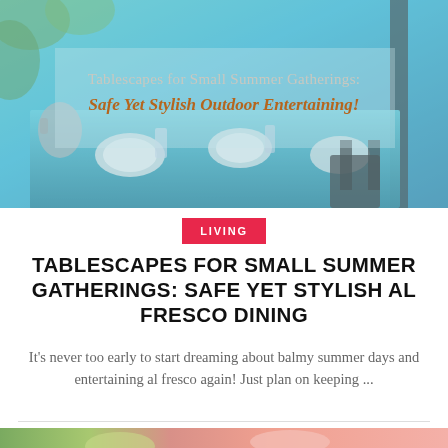[Figure (photo): Outdoor dining table set with blue tablecloth and place settings, overlaid with blog post title text about tablescapes for small summer gatherings]
LIVING
TABLESCAPES FOR SMALL SUMMER GATHERINGS: SAFE YET STYLISH AL FRESCO DINING
It's never too early to start dreaming about balmy summer days and entertaining al fresco again! Just plan on keeping ...
[Figure (photo): Partial view of a second blog post image showing outdoor garden scene with pink/coral background]